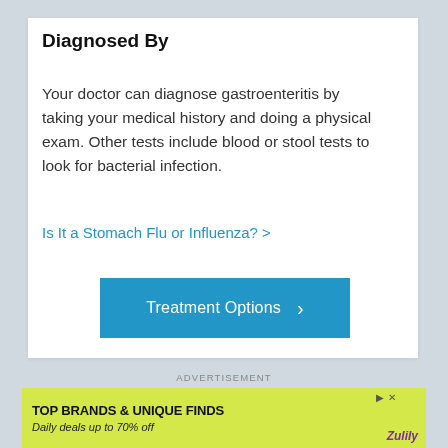Diagnosed By
Your doctor can diagnose gastroenteritis by taking your medical history and doing a physical exam. Other tests include blood or stool tests to look for bacterial infection.
Is It a Stomach Flu or Influenza? >
Treatment Options >
ADVERTISEMENT
[Figure (other): Advertisement banner with yellow-green background showing 'TOP BRANDS & UNIQUE FINDS' text, 'Daily deals up to 70% off', and Zulily logo with product images of shoes and a handbag.]